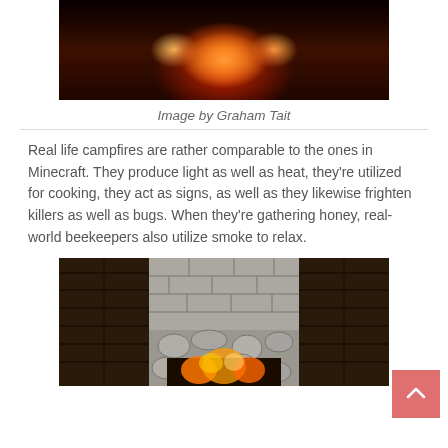[Figure (photo): A real-life campfire photo showing flames and burning logs, dark rocky surroundings with orange and yellow fire glow.]
Image by Graham Tait
Real life campfires are rather comparable to the ones in Minecraft. They produce light as well as heat, they're utilized for cooking, they act as signs, as well as they likewise frighten killers as well as bugs. When they're gathering honey, real-world beekeepers also utilize smoke to relax.
[Figure (screenshot): A Minecraft screenshot showing a campfire or furnace block built into a stone brick and dark wood wall, with orange flames visible at the bottom.]